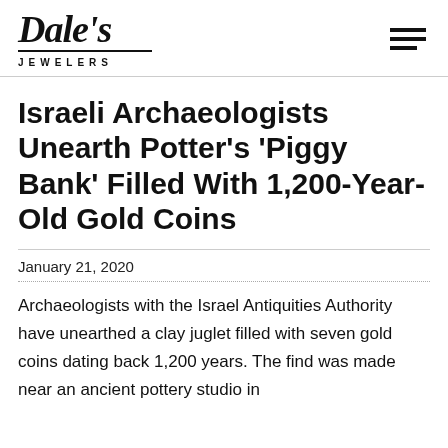[Figure (logo): Dale's Jewelers logo with script text and 'JEWELERS' in spaced capitals beneath]
Israeli Archaeologists Unearth Potter's 'Piggy Bank' Filled With 1,200-Year-Old Gold Coins
January 21, 2020
Archaeologists with the Israel Antiquities Authority have unearthed a clay juglet filled with seven gold coins dating back 1,200 years. The find was made near an ancient pottery studio in